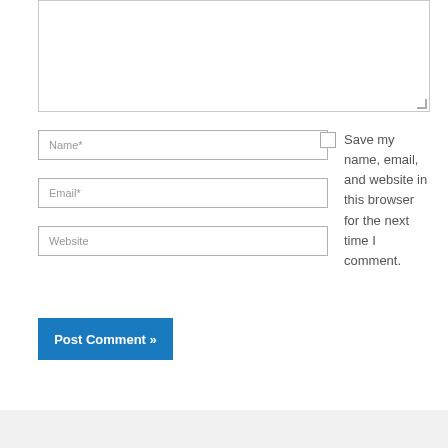[Figure (screenshot): Textarea input field (comment box), partially shown at top of page]
Name*
Email*
Website
Save my name, email, and website in this browser for the next time I comment.
Post Comment »